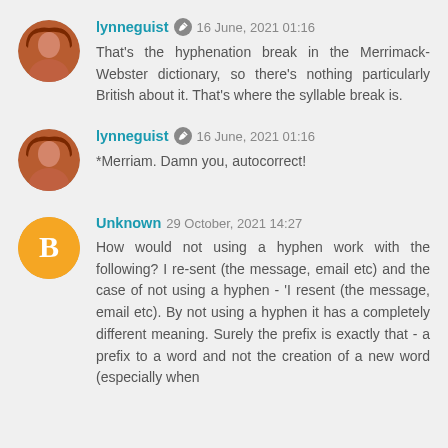lynneguist · 16 June, 2021 01:16
That's the hyphenation break in the Merrimack-Webster dictionary, so there's nothing particularly British about it. That's where the syllable break is.
lynneguist · 16 June, 2021 01:16
*Merriam. Damn you, autocorrect!
Unknown 29 October, 2021 14:27
How would not using a hyphen work with the following? I re-sent (the message, email etc) and the case of not using a hyphen - 'I resent (the message, email etc). By not using a hyphen it has a completely different meaning. Surely the prefix is exactly that - a prefix to a word and not the creation of a new word (especially when